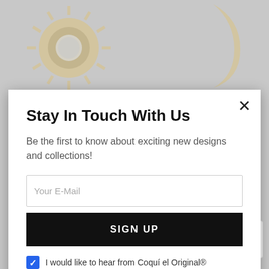[Figure (photo): Background showing decorative jewelry pieces — a sun/starburst pendant on the left and a crescent moon pendant on the right, on a grey background]
Stay In Touch With Us
Be the first to know about exciting new designs and collections!
Your E-Mail
SIGN UP
I would like to hear from Coquí el Original®
[Figure (logo): Google reCAPTCHA badge with Privacy and Terms links]